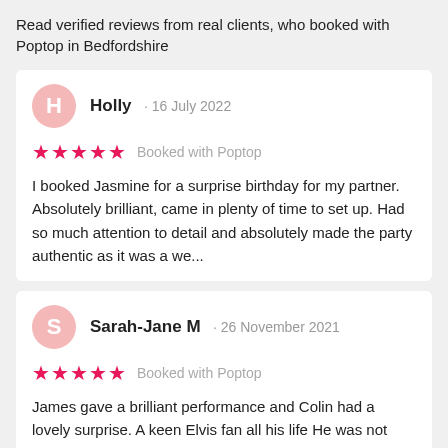Read verified reviews from real clients, who booked with Poptop in Bedfordshire
Holly · 16 July 2022
★★★★★ Booked with Poptop
I booked Jasmine for a surprise birthday for my partner. Absolutely brilliant, came in plenty of time to set up. Had so much attention to detail and absolutely made the party authentic as it was a we...
Sarah-Jane M · 26 November 2021
★★★★★ Booked with Poptop
James gave a brilliant performance and Colin had a lovely surprise. A keen Elvis fan all his life He was not disappointed. Everyone enjoyed a great night. James